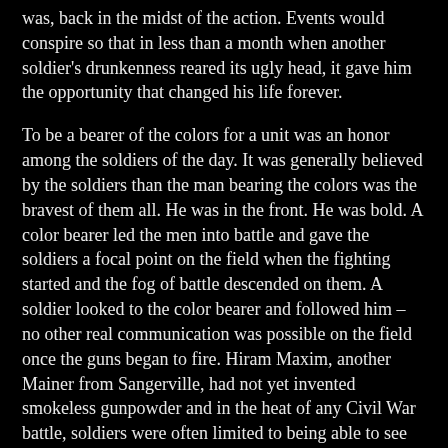was, back in the midst of the action. Events would conspire so that in less than a month when another soldier's drunkenness reared its ugly head, it gave him the opportunity that changed his life forever.
To be a bearer of the colors for a unit was an honor among the soldiers of the day. It was generally believed by the soldiers than the man bearing the colors was the bravest of them all. He was in the front. He was bold. A color bearer led the men into battle and gave the soldiers a focal point on the field when the fighting started and the fog of battle descended on them. A soldier looked to the color bearer and followed him – no other real communication was possible on the field once the guns began to fire. Hiram Maxim, another Mainer from Sangerville, had not yet invented smokeless gunpowder and in the heat of any Civil War battle, soldiers were often limited to being able to see only a few feet in front of themselves. The color bearer might be the only sight recognized in that field, once the bullets began to fly.